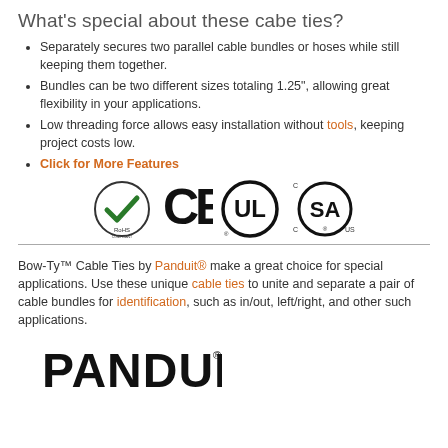What's special about these cabe ties?
Separately secures two parallel cable bundles or hoses while still keeping them together.
Bundles can be two different sizes totaling 1.25", allowing great flexibility in your applications.
Low threading force allows easy installation without tools, keeping project costs low.
Click for More Features
[Figure (logo): Certification logos: RoHS compliant checkmark, CE mark, UL listed, CSA US mark]
Bow-Ty™ Cable Ties by Panduit® make a great choice for special applications. Use these unique cable ties to unite and separate a pair of cable bundles for identification, such as in/out, left/right, and other such applications.
[Figure (logo): Panduit logo in bold black text with registered trademark symbol]